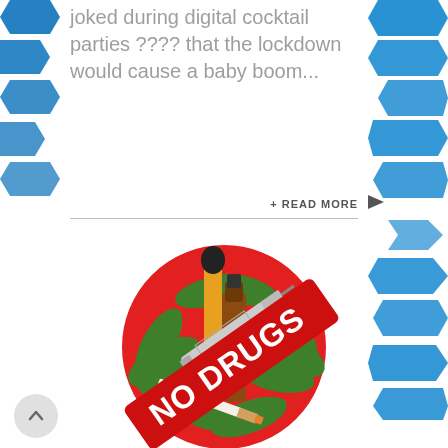[Figure (illustration): Blue hexagon pattern decorations on top-left side of page]
[Figure (illustration): Blue hexagon pattern decorations on top-right and right side of page]
When the pandemic first hit, many joked during digital cocktail parties ???? that the lockdown would cause a baby boom...
+ READ MORE
[Figure (illustration): No Drugs red circle sign with cannabis leaves, syringe, cigarette, vape pen and bottle inside]